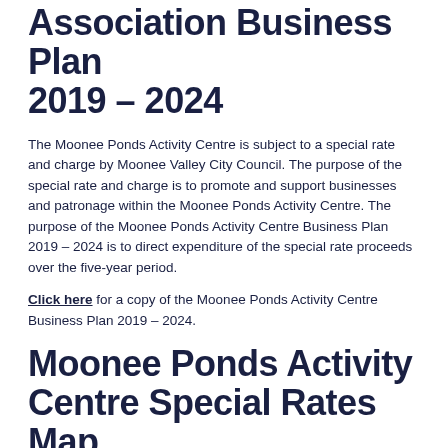Association Business Plan 2019 – 2024
The Moonee Ponds Activity Centre is subject to a special rate and charge by Moonee Valley City Council. The purpose of the special rate and charge is to promote and support businesses and patronage within the Moonee Ponds Activity Centre. The purpose of the Moonee Ponds Activity Centre Business Plan 2019 – 2024 is to direct expenditure of the special rate proceeds over the five-year period.
Click here for a copy of the Moonee Ponds Activity Centre Business Plan 2019 – 2024.
Moonee Ponds Activity Centre Special Rates Map
All Moonee Ponds Traders Precinct businesses contribute to